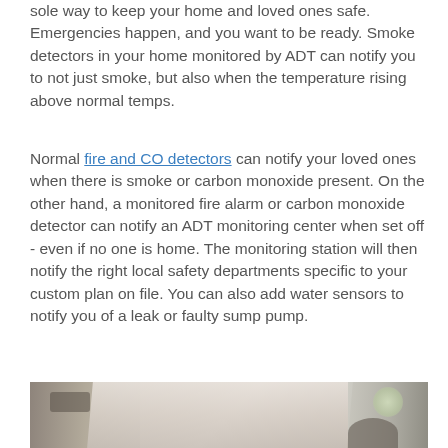sole way to keep your home and loved ones safe. Emergencies happen, and you want to be ready. Smoke detectors in your home monitored by ADT can notify you to not just smoke, but also when the temperature rising above normal temps.
Normal fire and CO detectors can notify your loved ones when there is smoke or carbon monoxide present. On the other hand, a monitored fire alarm or carbon monoxide detector can notify an ADT monitoring center when set off - even if no one is home. The monitoring station will then notify the right local safety departments specific to your custom plan on file. You can also add water sensors to notify you of a leak or faulty sump pump.
[Figure (photo): A blurred photo showing a person with light/white clothing, partially visible, with a blurred background including what appears to be shelving or cabinets and a green light or plant in the upper right.]